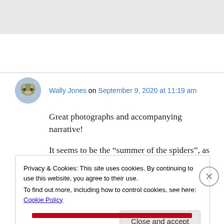[Figure (other): Gray banner/image area at top of page]
Wally Jones on September 9, 2020 at 11:19 am
Great photographs and accompanying narrative!
It seems to be the “summer of the spiders”, as I’ve encountered more incidents similar to yours
Privacy & Cookies: This site uses cookies. By continuing to use this website, you agree to their use.
To find out more, including how to control cookies, see here: Cookie Policy
Close and accept